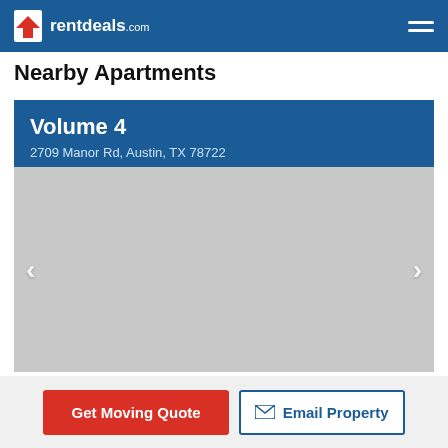rentdeals.com
Nearby Apartments
Volume 4
2709 Manor Rd, Austin, TX 78722
[Figure (photo): Gray placeholder image area for apartment photo with left and right navigation arrows]
Get Moving Quote
Email Property